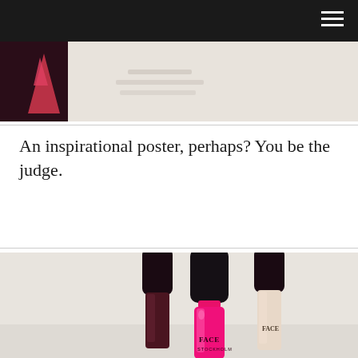[Figure (photo): Partial view of a photo showing dark/purple and cream/beige background elements, possibly a poster or styled image, behind a black navigation bar]
An inspirational poster, perhaps? You be the judge.
[Figure (photo): Photo of three nail polish bottles from the brand FACE Stockholm arranged on a light surface. The front bottle has bright neon pink/magenta polish, one behind it has dark burgundy/dark brown polish, and another has a nude/cream polish. All bottles have black caps.]